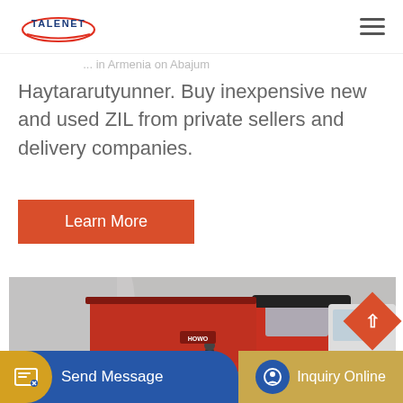TALENET
Haytararutyunner. Buy inexpensive new and used ZIL from private sellers and delivery companies.
[Figure (other): Orange 'Learn More' button]
[Figure (photo): Red dump truck (HOWO) parked near a building with white trucks in background]
[Figure (other): Bottom navigation bar with 'Send Message' (blue) and 'Inquiry Online' (gold) buttons, and an up-arrow button]